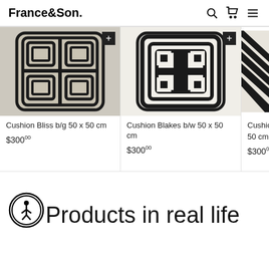France&Son
[Figure (photo): Product card: Cushion Bliss b/g 50 x 50 cm with geometric black-and-tan pattern]
Cushion Bliss b/g 50 x 50 cm
$30000
[Figure (photo): Product card: Cushion Blakes b/w 50 x 50 cm with black-and-white maze/Greek key pattern]
Cushion Blakes b/w 50 x 50 cm
$30000
[Figure (photo): Partial product card: Cushion (name cut off) 50 cm with black-and-white zebra stripe pattern]
Cushion 50 cm
$30000
[Figure (logo): Accessibility icon - circular symbol with person figure]
Products in real life